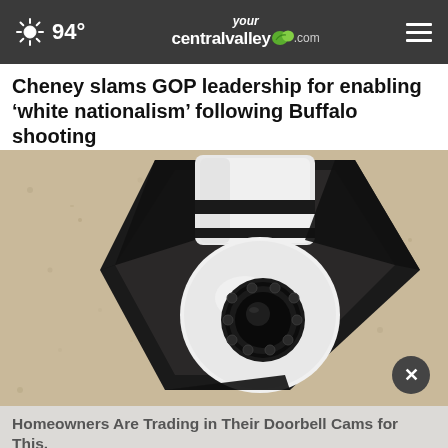94° yourcentralvalley.com
Cheney slams GOP leadership for enabling 'white nationalism' following Buffalo shooting
[Figure (photo): Close-up photograph of a white dome security camera mounted in a black bracket on a beige textured stucco wall]
Homeowners Are Trading in Their Doorbell Cams for This.